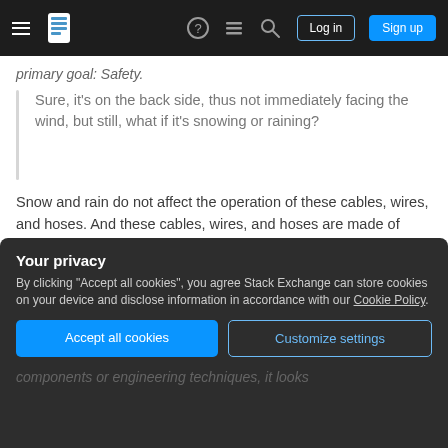Stack Exchange navigation bar with hamburger menu, logo, help, chat, search icons, Log in and Sign up buttons
primary goal: Safety.
Sure, it's on the back side, thus not immediately facing the wind, but still, what if it's snowing or raining?
Snow and rain do not affect the operation of these cables, wires, and hoses. And these cables, wires, and hoses are made of materials that are not damaged by the air nor the common contaminants in the air.
Your privacy
By clicking "Accept all cookies", you agree Stack Exchange can store cookies on your device and disclose information in accordance with our Cookie Policy.
Accept all cookies
Customize settings
components or engineering techniques, it looks